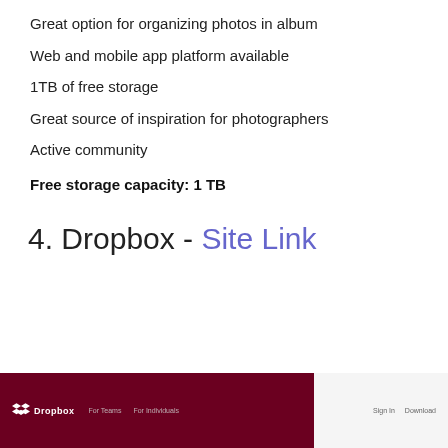Great option for organizing photos in album
Web and mobile app platform available
1TB of free storage
Great source of inspiration for photographers
Active community
Free storage capacity: 1 TB
4. Dropbox - Site Link
[Figure (screenshot): Screenshot of the Dropbox website header with dark red/maroon background showing the Dropbox logo, navigation links 'For Teams' and 'For Individuals', and right-side links 'Sign In' and 'Download'.]